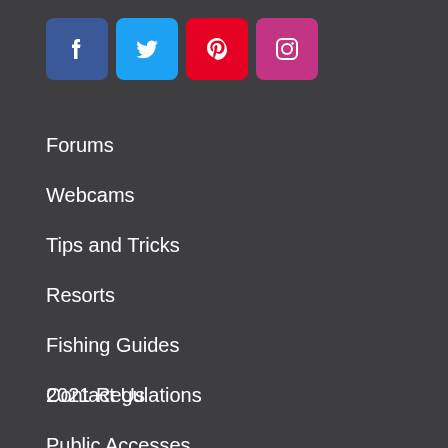[Figure (infographic): Row of four social media icon buttons: Facebook (dark blue), Twitter (light blue), Pinterest (red), Instagram (pink/purple)]
Forums
Webcams
Tips and Tricks
Resorts
Fishing Guides
Contact Us
2021 Regulations
Public Accesses